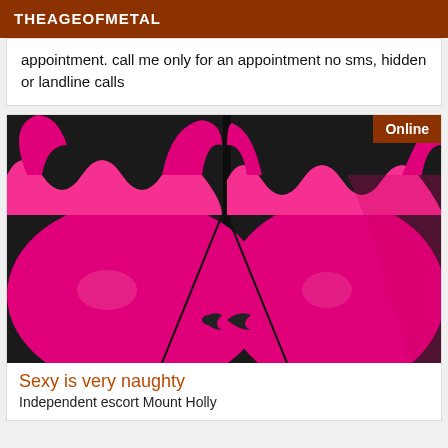THEAGEOFMETAL
appointment. call me only for an appointment no sms, hidden or landline calls
[Figure (photo): Two pink/magenta bras side by side against a dark background, each with a black bow in the center. An 'Online' badge appears in the top right corner.]
Sexy is very naughty
Independent escort Mount Holly